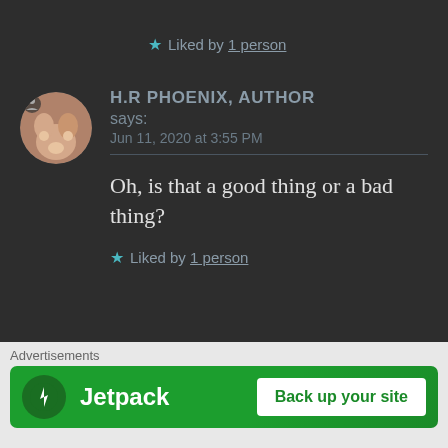★ Liked by 1 person
H.R PHOENIX, AUTHOR says: Jun 11, 2020 at 3:55 PM
Oh, is that a good thing or a bad thing?
★ Liked by 1 person
THE BOLD GIRL says:
Advertisements
[Figure (screenshot): Jetpack advertisement banner with logo and 'Back up your site' button on green background]